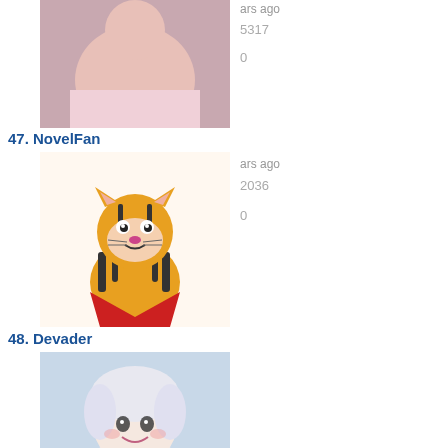[Figure (photo): Partial avatar image at top, cropped]
ars ago
5317
0
47. NovelFan
[Figure (illustration): Cartoon tiger avatar (Calvin and Hobbes style)]
ars ago
2036
0
48. Devader
[Figure (illustration): Illustrated busty female character avatar]
ars ago
10349
0
49. PowerGirl
[Figure (photo): Photo of young blonde woman holding a teal item]
ars ago
2954
7
50. adenilson Andrade
[Figure (photo): Photo of young woman with dark hair smiling, orange background]
ars ago
0
0
51. lola
[Figure (photo): Partial avatar photo at bottom, cropped]